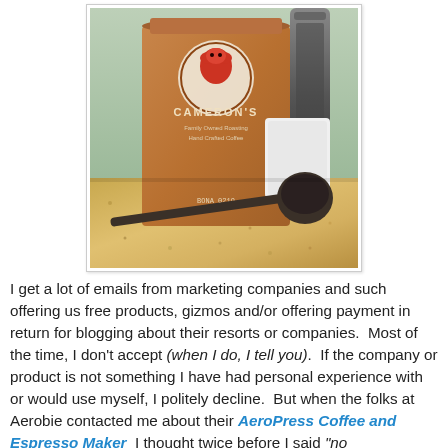[Figure (photo): Photo of a Cameron's coffee bag (kraft paper bag with red lion logo) next to an AeroPress coffee maker and a coffee scoop on a granite countertop]
I get a lot of emails from marketing companies and such offering us free products, gizmos and/or offering payment in return for blogging about their resorts or companies.  Most of the time, I don't accept (when I do, I tell you).  If the company or product is not something I have had personal experience with or would use myself, I politely decline.  But when the folks at Aerobie contacted me about their AeroPress Coffee and Espresso Maker  I thought twice before I said "no